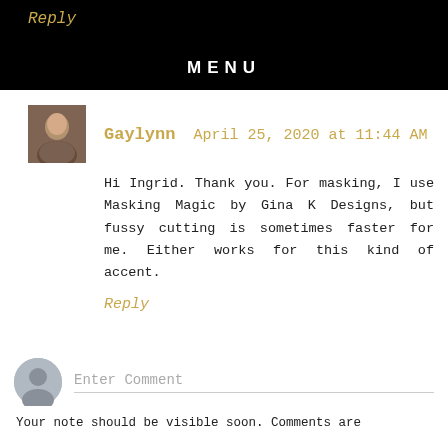Reply
MENU
Gaylynn   April 25, 2020 at 11:44 AM
Hi Ingrid. Thank you. For masking, I use Masking Magic by Gina K Designs, but fussy cutting is sometimes faster for me. Either works for this kind of accent.
Reply
Enter Comment
Your note should be visible soon. Comments are